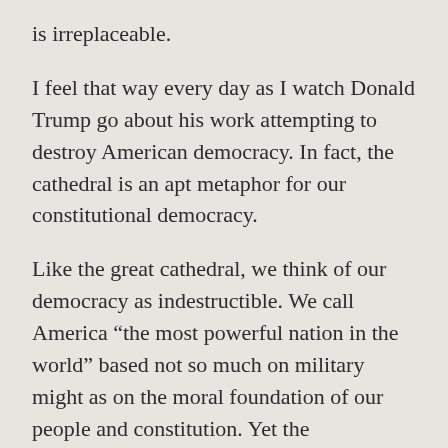is irreplaceable.
I feel that way every day as I watch Donald Trump go about his work attempting to destroy American democracy. In fact, the cathedral is an apt metaphor for our constitutional democracy.
Like the great cathedral, we think of our democracy as indestructible. We call America “the most powerful nation in the world” based not so much on military might as on the moral foundation of our people and constitution. Yet the constitution, much like the cathedral, is structurally delicate.